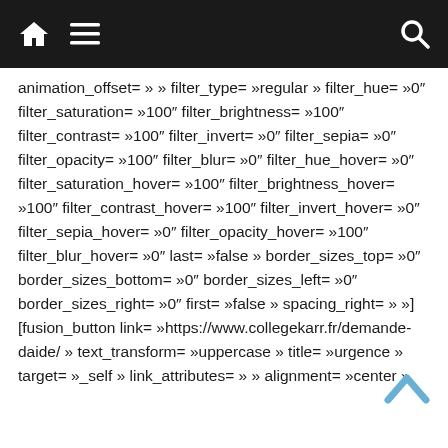Navigation bar with home, menu, and search icons
animation_offset= » » filter_type= »regular » filter_hue= »0″ filter_saturation= »100″ filter_brightness= »100″ filter_contrast= »100″ filter_invert= »0″ filter_sepia= »0″ filter_opacity= »100″ filter_blur= »0″ filter_hue_hover= »0″ filter_saturation_hover= »100″ filter_brightness_hover= »100″ filter_contrast_hover= »100″ filter_invert_hover= »0″ filter_sepia_hover= »0″ filter_opacity_hover= »100″ filter_blur_hover= »0″ last= »false » border_sizes_top= »0″ border_sizes_bottom= »0″ border_sizes_left= »0″ border_sizes_right= »0″ first= »false » spacing_right= » »][fusion_button link= »https://www.collegekarr.fr/demande-daide/ » text_transform= »uppercase » title= »urgence » target= »_self » link_attributes= » » alignment= »center »